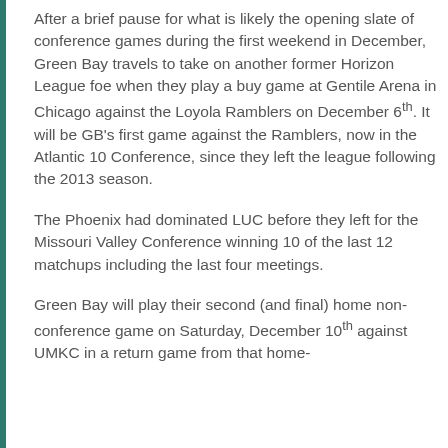After a brief pause for what is likely the opening slate of conference games during the first weekend in December, Green Bay travels to take on another former Horizon League foe when they play a buy game at Gentile Arena in Chicago against the Loyola Ramblers on December 6th. It will be GB's first game against the Ramblers, now in the Atlantic 10 Conference, since they left the league following the 2013 season.
The Phoenix had dominated LUC before they left for the Missouri Valley Conference winning 10 of the last 12 matchups including the last four meetings.
Green Bay will play their second (and final) home non-conference game on Saturday, December 10th against UMKC in a return game from that home-